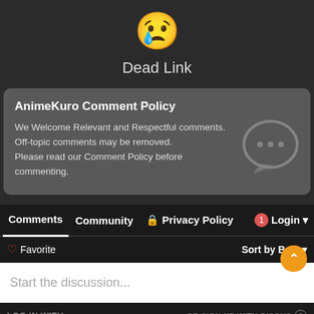[Figure (illustration): Crying face emoji (😢) in yellow]
Dead Link
AnimeKuro Comment Policy
We Welcome Relevant and Respectful comments. Off-topic comments may be removed.
Please read our Comment Policy before commenting.
Comments  Community  🔒 Privacy Policy  1  Login ▾
♡ Favorite   Sort by Best ▾
Start the discussion...
LOG IN WITH
OR SIGN UP WITH DISQUS ?
Name